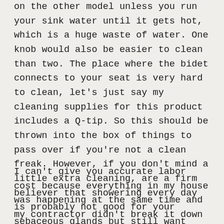on the other model unless you run your sink water until it gets hot, which is a huge waste of water. One knob would also be easier to clean than two. The place where the bidet connects to your seat is very hard to clean, let's just say my cleaning supplies for this product includes a Q-tip. So this should be thrown into the box of things to pass over if you're not a clean freak. However, if you don't mind a little extra cleaning, are a firm believer that showering every day is probably not good for your sebaceous glands but still want your underbits fresh, want to conserve toilet paper use, this is a good product for you. Unless you can afford a Toto.
I can't give you accurate labor cost because everything in my house was happening at the same time and my contractor didn't break it down by room,